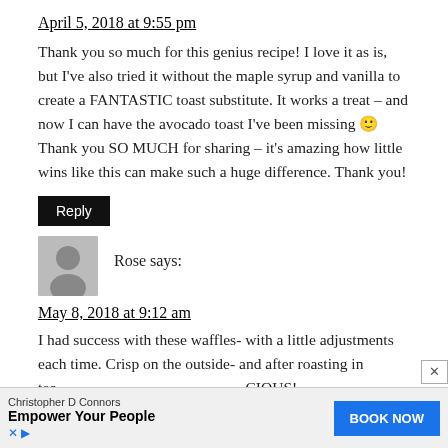April 5, 2018 at 9:55 pm
Thank you so much for this genius recipe! I love it as is, but I've also tried it without the maple syrup and vanilla to create a FANTASTIC toast substitute. It works a treat – and now I can have the avocado toast I've been missing 🙂 Thank you SO MUCH for sharing – it's amazing how little wins like this can make such a huge difference. Thank you!
Reply
Rose says:
May 8, 2018 at 9:12 am
I had success with these waffles- with a little adjustments each time. Crisp on the outside- and after roasting in toa…CIOUS! (Jus…guar
[Figure (infographic): Advertisement overlay: Christopher D Connors - Empower Your People - BOOK NOW button]